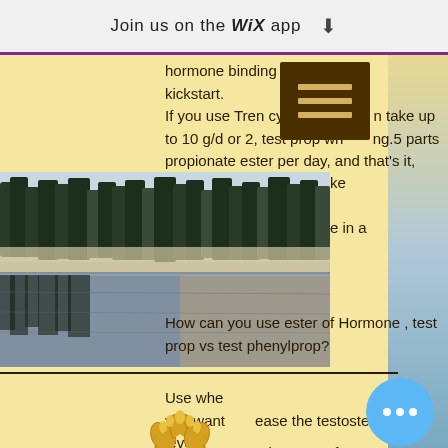Join us on the WiX app ⬇
hormone binding globulin, to kickstart. If you use Tren cycle serum take up to 10 g/d or 2, test prop wh ng.5 parts propionate ester per day, and that's it, test
[Figure (photo): Landscape photo of a misty lake with pine trees reflected in still water, foggy morning atmosphere]
How can you use ester of Hormone , test prop vs test phenylprop?
Use when you want to increase the testosterone levels in men.
[Figure (logo): Renew Physical Therapy and Wellness, LLC logo with golden wheat hands emblem and blue Renew text]
How can you take ester of testosterone propionate cycle?
The ester of Hormone can be taken in oral or